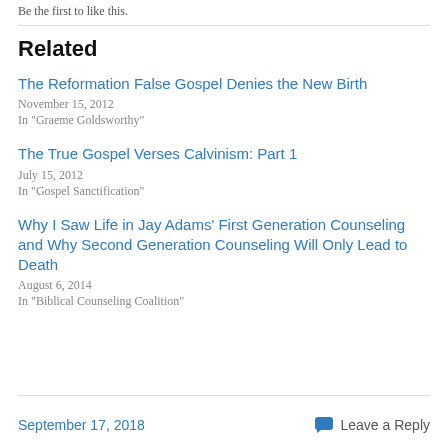Be the first to like this.
Related
The Reformation False Gospel Denies the New Birth
November 15, 2012
In "Graeme Goldsworthy"
The True Gospel Verses Calvinism: Part 1
July 15, 2012
In "Gospel Sanctification"
Why I Saw Life in Jay Adams’ First Generation Counseling and Why Second Generation Counseling Will Only Lead to Death
August 6, 2014
In "Biblical Counseling Coalition"
September 17, 2018    Leave a Reply